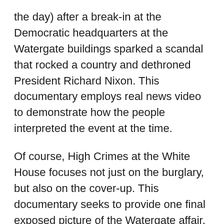the day) after a break-in at the Democratic headquarters at the Watergate buildings sparked a scandal that rocked a country and dethroned President Richard Nixon. This documentary employs real news video to demonstrate how the people interpreted the event at the time.
Of course, High Crimes at the White House focuses not just on the burglary, but also on the cover-up. This documentary seeks to provide one final exposed picture of the Watergate affair, from Nixon's psychotic recordings to issues about how tapes were manipulated.
Starting Friday (June 17), you may watch it on Paramount Plus(opens in new tab) (also